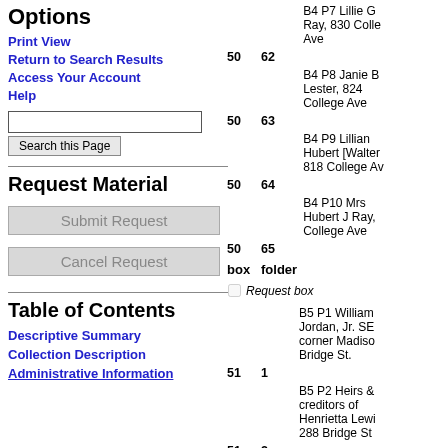Options
Print View
Return to Search Results
Access Your Account
Help
Request Material
Submit Request
Cancel Request
Table of Contents
Descriptive Summary
Collection Description
Administrative Information
| box | folder |  |
| --- | --- | --- |
| 50 | 62 | B4 P7 Lillie G Ray, 830 Colle Ave |
| 50 | 63 | B4 P8 Janie B Lester, 824 College Ave |
| 50 | 64 | B4 P9 Lillian Hubert [Walter 818 College Av |
| 50 | 65 | B4 P10 Mrs Hubert J Ray, College Ave |
|  |  | Request box |
| 51 | 1 | B5 P1 William Jordan, Jr. SE corner Madiso Bridge St. |
| 51 | 2 | B5 P2 Heirs & creditors of Henrietta Lewi 288 Bridge St |